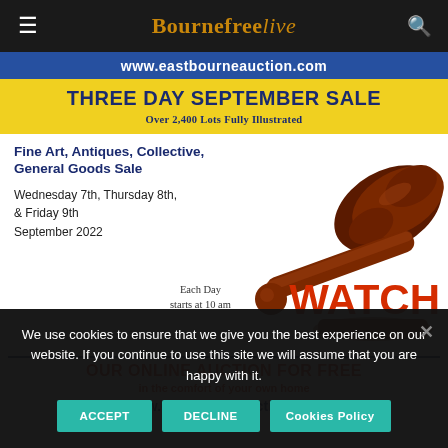Bournefreelive
[Figure (infographic): Auction advertisement with gavel image. THREE DAY SEPTEMBER SALE - Over 2,400 Lots Fully Illustrated. Fine Art, Antiques, Collective, General Goods Sale. Wednesday 7th, Thursday 8th, & Friday 9th September 2022. Each Day starts at 10 am. WATCH OUR ONLINE AUCTION FOR FREE in the comfort of your own home. www.eastbourneauction.com]
We use cookies to ensure that we give you the best experience on our website. If you continue to use this site we will assume that you are happy with it.
ACCEPT
DECLINE
Cookies Policy